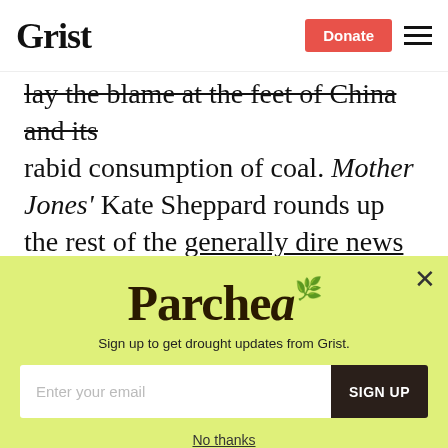Grist | Donate
lay the blame at the feet of China and its rabid consumption of coal. Mother Jones' Kate Sheppard rounds up the rest of the generally dire news on the talks, ranging from their potential to become irrelevant to the intractability of the positions of the 180 countries who are potential signatories to any agreement.
[Figure (other): Parched newsletter signup modal with yellow-green background. Shows 'Parched' logo, subtitle 'Sign up to get drought updates from Grist.', email input field, SIGN UP button, and 'No thanks' link.]